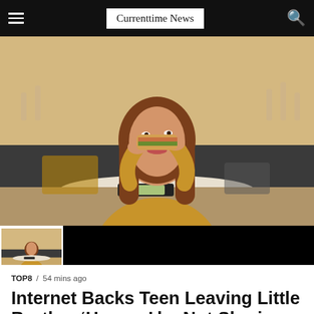Currenttime News
[Figure (photo): Young woman with long hair wearing a yellow sweater, eating a sandwich/sub at a restaurant table, looking upward and to the side. A thumbnail strip appears below the main image showing the same image smaller on the left and a black panel on the right.]
TOP8 / 54 mins ago
Internet Backs Teen Leaving Little Brother ‘Hungry’ by Not Sharing Food